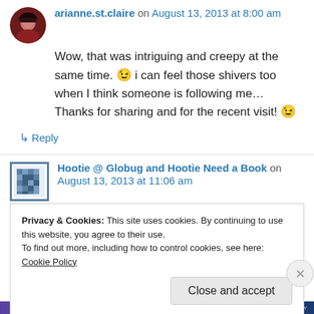arianne.st.claire on August 13, 2013 at 8:00 am
Wow, that was intriguing and creepy at the same time. 😉 i can feel those shivers too when I think someone is following me… Thanks for sharing and for the recent visit! 😉
↳ Reply
Hootie @ Globug and Hootie Need a Book on August 13, 2013 at 11:06 am
Privacy & Cookies: This site uses cookies. By continuing to use this website, you agree to their use.
To find out more, including how to control cookies, see here: Cookie Policy
Close and accept